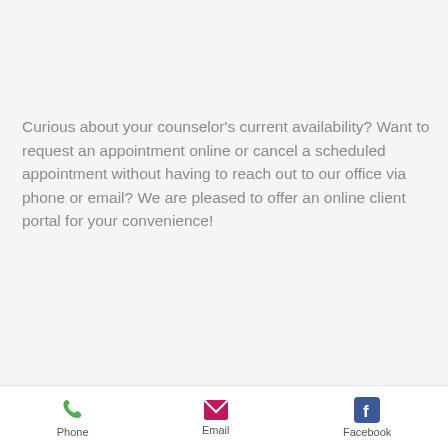Curious about your counselor's current availability?  Want to request an appointment online or cancel a scheduled appointment without having to reach out to our office via phone or email?  We are pleased to offer an online client portal for your convenience!
Who is it for?
Our Client Portal is accessible to current clients only.  If you are a
Phone  Email  Facebook